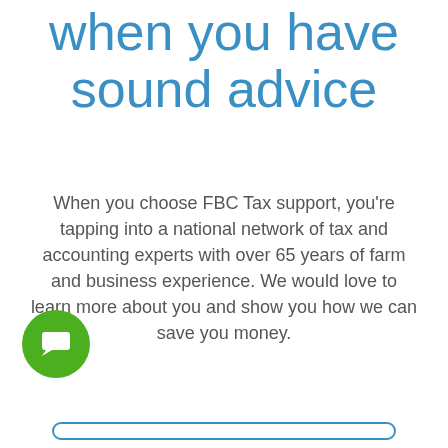when you have sound advice
When you choose FBC Tax support, you're tapping into a national network of tax and accounting experts with over 65 years of farm and business experience. We would love to learn more about you and show you how we can save you money.
[Figure (illustration): Green circle chat bubble icon button in lower left corner]